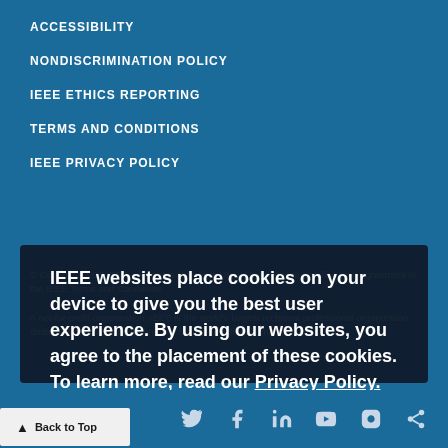ACCESSIBILITY
NONDISCRIMINATION POLICY
IEEE ETHICS REPORTING
TERMS AND CONDITIONS
IEEE PRIVACY POLICY
© Copyright 2022 IEEE – All rights reserved. Use of this website signifies your agreement to the IEEE Terms and Conditions.
A not-for-profit organization, IEEE is the world's largest technical professional organization dedicated to advancing technology for the benefit of humanity.
IEEE websites place cookies on your device to give you the best user experience. By using our websites, you agree to the placement of these cookies. To learn more, read our Privacy Policy.
Accept & Close
Back to Top